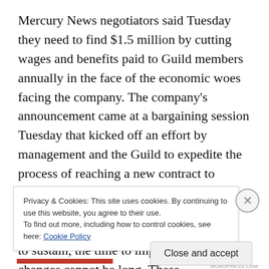Mercury News negotiators said Tuesday they need to find $1.5 million by cutting wages and benefits paid to Guild members annually in the face of the economic woes facing the company. The company's announcement came at a bargaining session Tuesday that kicked off an effort by management and the Guild to expedite the process of reaching a new contract to replace the one that expired October 31.

“Given the losses the Chronicle continues to sustain, the time to implement these changes cannot be long. These
Privacy & Cookies: This site uses cookies. By continuing to use this website, you agree to their use.
To find out more, including how to control cookies, see here: Cookie Policy
Close and accept